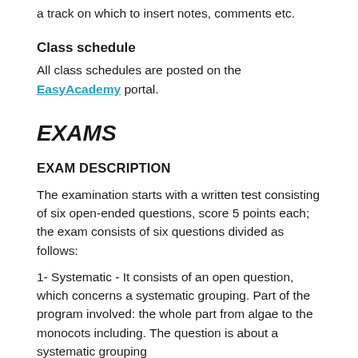a track on which to insert notes, comments etc.
Class schedule
All class schedules are posted on the EasyAcademy portal.
EXAMS
EXAM DESCRIPTION
The examination starts with a written test consisting of six open-ended questions, score 5 points each; the exam consists of six questions divided as follows:
1- Systematic - It consists of an open question, which concerns a systematic grouping. Part of the program involved: the whole part from algae to the monocots including. The question is about a systematic grouping